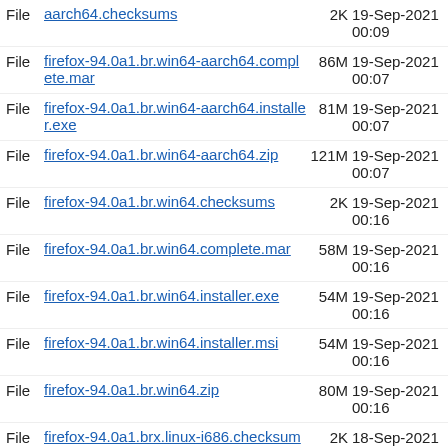File aarch64.checksums 2K 19-Sep-2021 00:09
File firefox-94.0a1.br.win64-aarch64.complete.mar 86M 19-Sep-2021 00:07
File firefox-94.0a1.br.win64-aarch64.installer.exe 81M 19-Sep-2021 00:07
File firefox-94.0a1.br.win64-aarch64.zip 121M 19-Sep-2021 00:07
File firefox-94.0a1.br.win64.checksums 2K 19-Sep-2021 00:16
File firefox-94.0a1.br.win64.complete.mar 58M 19-Sep-2021 00:16
File firefox-94.0a1.br.win64.installer.exe 54M 19-Sep-2021 00:16
File firefox-94.0a1.br.win64.installer.msi 54M 19-Sep-2021 00:16
File firefox-94.0a1.br.win64.zip 80M 19-Sep-2021 00:16
File firefox-94.0a1.brx.linux-i686.checksums 2K 18-Sep-2021 23:49
File firefox-94.0a1.brx.linux-i686.complete.mar 65M 18-Sep-2021 23:48
File firefox-94.0a1.brx.linux-i686.tar.bz2 81M 18-Sep-2021 23:48